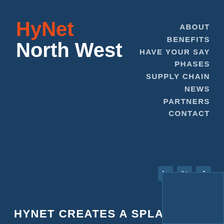HyNet North West
ABOUT
BENEFITS
HAVE YOUR SAY
PHASES
SUPPLY CHAIN
NEWS
PARTNERS
CONTACT
[Figure (illustration): Social media icons: LinkedIn, Twitter, Facebook]
HYNET CREATES A SPLASH AT ITS